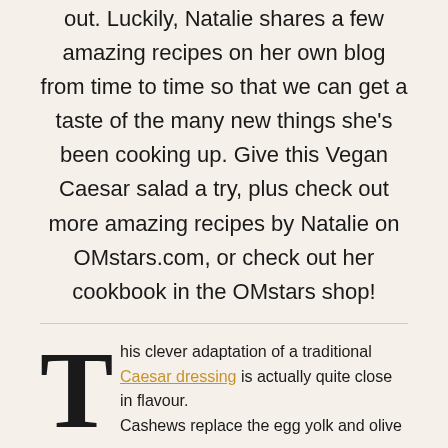out. Luckily, Natalie shares a few amazing recipes on her own blog from time to time so that we can get a taste of the many new things she's been cooking up. Give this Vegan Caesar salad a try, plus check out more amazing recipes by Natalie on OMstars.com, or check out her cookbook in the OMstars shop!
This clever adaptation of a traditional Caesar dressing is actually quite close in flavour. Cashews replace the egg yolk and olive